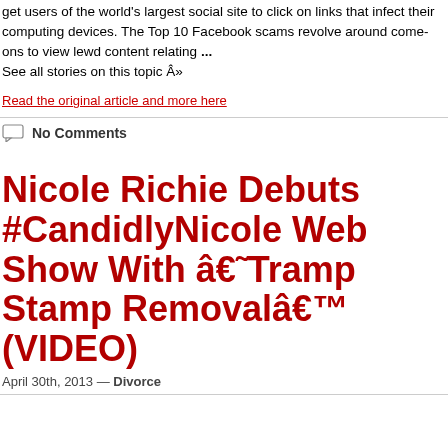get users of the world's largest social site to click on links that infect their computing devices. The Top 10 Facebook scams revolve around come-ons to view lewd content relating ...
See all stories on this topic Â»
Read the original article and more here
No Comments
Nicole Richie Debuts #CandidlyNicole Web Show With â€˜Tramp Stamp Removalâ€™ (VIDEO)
April 30th, 2013 — Divorce